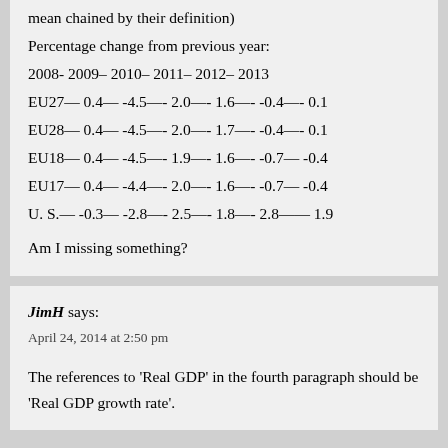mean chained by their definition)
Percentage change from previous year:
2008- 2009– 2010– 2011– 2012– 2013
EU27— 0.4— -4.5—- 2.0—- 1.6—- -0.4—- 0.1
EU28— 0.4— -4.5—- 2.0—- 1.7—- -0.4—- 0.1
EU18— 0.4— -4.5—- 1.9—- 1.6—- -0.7— -0.4
EU17— 0.4— -4.4—- 2.0—- 1.6—- -0.7— -0.4
U. S.— -0.3— -2.8—- 2.5—- 1.8—- 2.8—— 1.9
Am I missing something?
JimH says:
April 24, 2014 at 2:50 pm
The references to 'Real GDP' in the fourth paragraph should be 'Real GDP growth rate'.